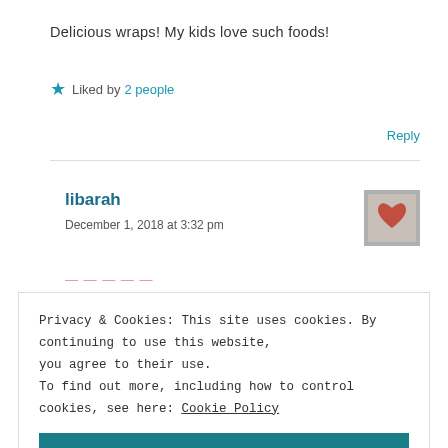Delicious wraps! My kids love such foods!
★ Liked by 2 people
Reply
libarah
December 1, 2018 at 3:32 pm
[Figure (photo): Avatar/profile image showing a red heart design against a light background]
Privacy & Cookies: This site uses cookies. By continuing to use this website, you agree to their use.
To find out more, including how to control cookies, see here: Cookie Policy
Close and accept
Qatar Days